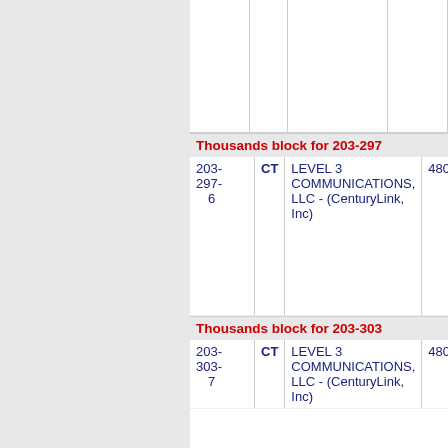| Number | State | Company | Code |
| --- | --- | --- | --- |
| 203-297-6 | CT | LEVEL 3 COMMUNICATIONS, LLC - (CenturyLink, Inc) | 4800 |
| 203-303-7 | CT | LEVEL 3 COMMUNICATIONS, LLC - (CenturyLink, Inc) | 4800 |